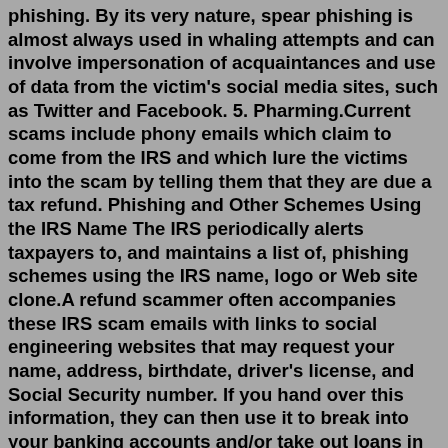phishing. By its very nature, spear phishing is almost always used in whaling attempts and can involve impersonation of acquaintances and use of data from the victim's social media sites, such as Twitter and Facebook. 5. Pharming.Current scams include phony emails which claim to come from the IRS and which lure the victims into the scam by telling them that they are due a tax refund. Phishing and Other Schemes Using the IRS Name The IRS periodically alerts taxpayers to, and maintains a list of, phishing schemes using the IRS name, logo or Web site clone.A refund scammer often accompanies these IRS scam emails with links to social engineering websites that may request your name, address, birthdate, driver's license, and Social Security number. If you hand over this information, they can then use it to break into your banking accounts and/or take out loans in your name. IRS scam warning signs:Phishing kits are basically collections of software utilities you can download by mistake. Once installed, these tools can launch large phishing campaigns and send mass